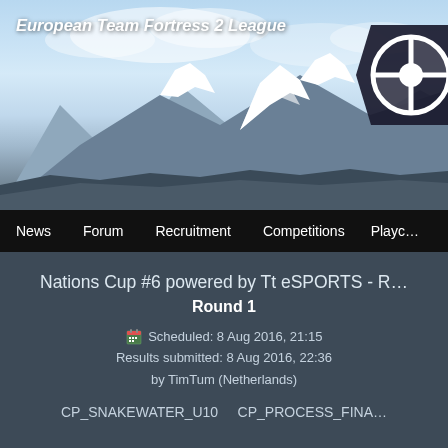[Figure (illustration): Mountain landscape banner for European Team Fortress 2 League website header, with snow-capped peaks and stylized TF2 logo partially visible at top right]
European Team Fortress 2 League
News  Forum  Recruitment  Competitions  Playc…
Nations Cup #6 powered by Tt eSPORTS - R…
Round 1
Scheduled: 8 Aug 2016, 21:15
Results submitted: 8 Aug 2016, 22:36
by TimTum (Netherlands)
CP_SNAKEWATER_U10    CP_PROCESS_FINA…